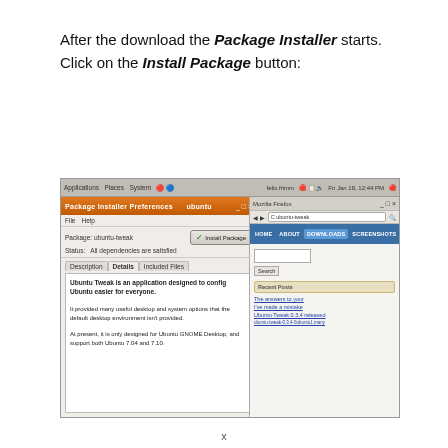After the download the Package Installer starts. Click on the Install Package button:
[Figure (screenshot): Screenshot of Ubuntu Package Installer window showing 'Install Package' button highlighted, with a Firefox browser window visible behind it showing the Ubuntu Tweak website]
x